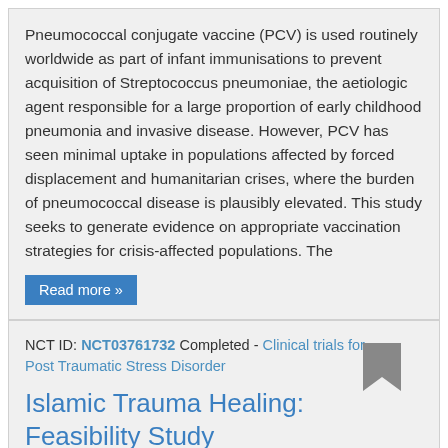Pneumococcal conjugate vaccine (PCV) is used routinely worldwide as part of infant immunisations to prevent acquisition of Streptococcus pneumoniae, the aetiologic agent responsible for a large proportion of early childhood pneumonia and invasive disease. However, PCV has seen minimal uptake in populations affected by forced displacement and humanitarian crises, where the burden of pneumococcal disease is plausibly elevated. This study seeks to generate evidence on appropriate vaccination strategies for crisis-affected populations. The
Read more »
NCT ID: NCT03761732 Completed - Clinical trials for Post Traumatic Stress Disorder
Islamic Trauma Healing: Feasibility Study
Start date: October 15, 2018
Phase: N/A
Study type: Interventional